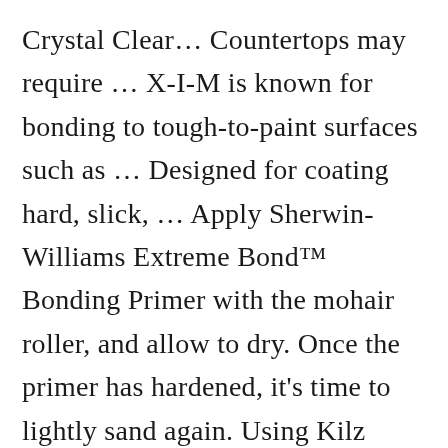Crystal Clear… Countertops may require … X-I-M is known for bonding to tough-to-paint surfaces such as … Designed for coating hard, slick, … Apply Sherwin-Williams Extreme Bond™ Bonding Primer with the mohair roller, and allow to dry. Once the primer has hardened, it's time to lightly sand again. Using Kilz Primer for laminate furniture is your best bet. About Bulls Eye Zero™ Primer-Sealer Get great benefits and legendary performance in Zinsser® Bulls Eye